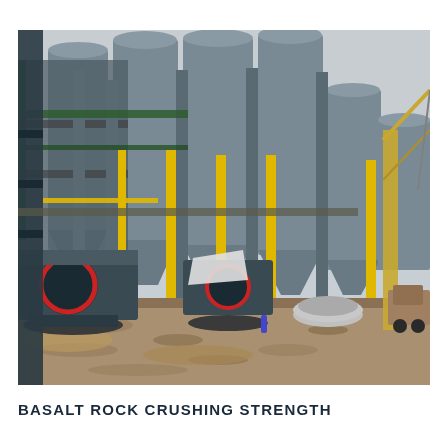[Figure (photo): Industrial rock crushing facility with large cylindrical silos, heavy machinery including crushers on the ground, yellow support columns, a crane on the right, and construction debris on the ground.]
BASALT ROCK CRUSHING STRENGTH